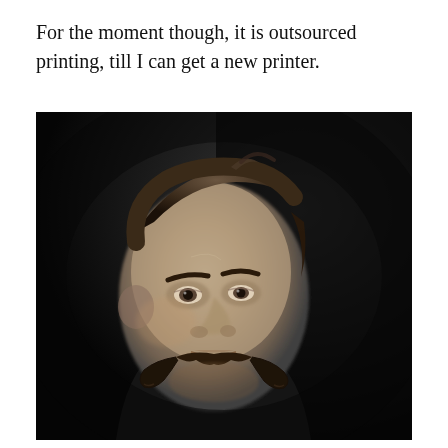For the moment though, it is outsourced printing, till I can get a new printer.
[Figure (photo): Black and white portrait photograph of a middle-aged man with a prominent curled handlebar mustache, wearing a dark suit with white shirt, looking slightly upward against a dark background.]